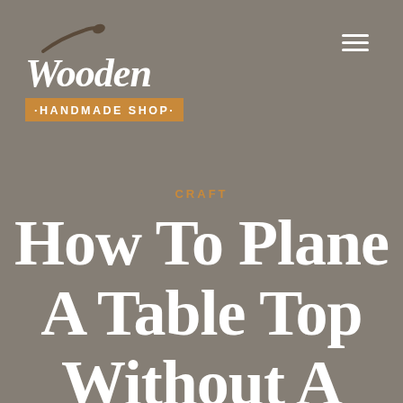[Figure (logo): Wooden Handmade Shop logo with spoon icon, cursive Wooden text, and golden banner reading HANDMADE SHOP]
CRAFT
How To Plane A Table Top Without A